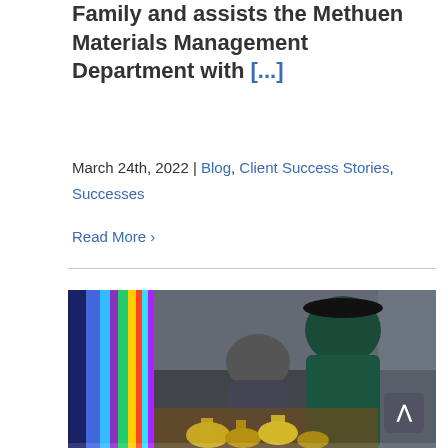Family and assists the Methuen Materials Management Department with [...]
March 24th, 2022 | Blog, Client Success Stories, Successes
Read More ›
[Figure (photo): Two people in a room with trophies and holographic decorations on a table. One person in a teal/green hoodie bends over items, while another in a dark jacket stands nearby. Colorful holographic foil pieces visible on the left. Golden figurines in the foreground.]